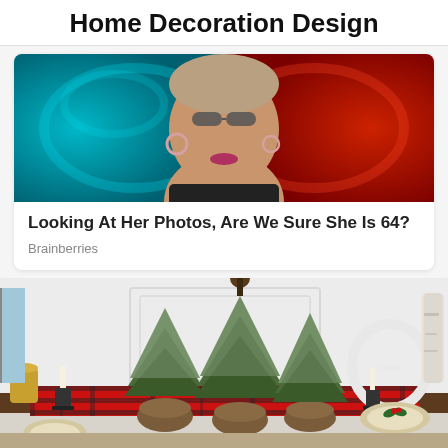Home Decoration Design
[Figure (photo): Woman with sunglasses and hoop earrings, black top, colorful background with teal and red swirls]
Looking At Her Photos, Are We Sure She Is 64?
Brainberries
[Figure (photo): Holiday dining table decorated with small Christmas trees in wicker baskets, red and black buffalo plaid table runner, candles, white chairs]